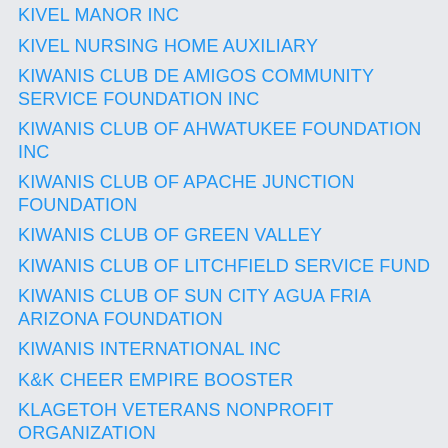KIVEL MANOR INC
KIVEL NURSING HOME AUXILIARY
KIWANIS CLUB DE AMIGOS COMMUNITY SERVICE FOUNDATION INC
KIWANIS CLUB OF AHWATUKEE FOUNDATION INC
KIWANIS CLUB OF APACHE JUNCTION FOUNDATION
KIWANIS CLUB OF GREEN VALLEY
KIWANIS CLUB OF LITCHFIELD SERVICE FUND
KIWANIS CLUB OF SUN CITY AGUA FRIA ARIZONA FOUNDATION
KIWANIS INTERNATIONAL INC
K&K CHEER EMPIRE BOOSTER
KLAGETOH VETERANS NONPROFIT ORGANIZATION
KLAUS TEAM CARES
KLEIN STORRS FAMILY ASSOCIATION
KLEPPE FOUNDATION
KLUPP DORR INC